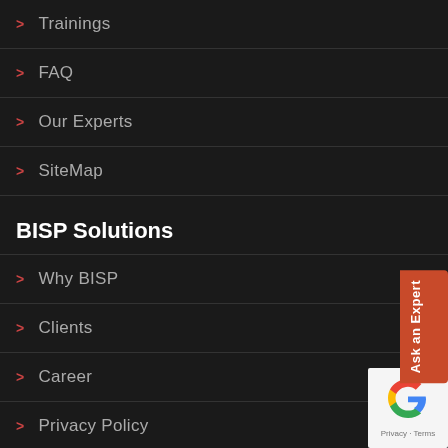Trainings
FAQ
Our Experts
SiteMap
BISP Solutions
Why BISP
Clients
Career
Privacy Policy
Contact us